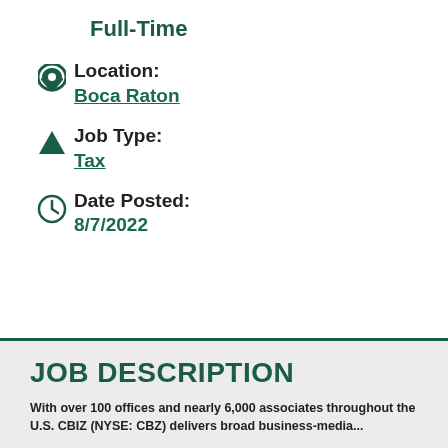Full-Time
Location: Boca Raton
Job Type: Tax
Date Posted: 8/7/2022
JOB DESCRIPTION
With over 100 offices and nearly 6,000 associates throughout the U.S. CBIZ (NYSE: CBZ) delivers broad business-media...